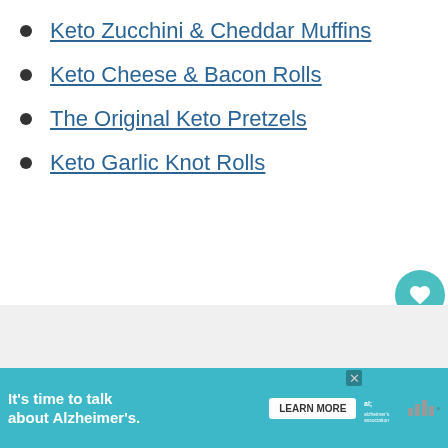Keto Zucchini & Cheddar Muffins
Keto Cheese & Bacon Rolls
The Original Keto Pretzels
Keto Garlic Knot Rolls
[Figure (screenshot): Social share sidebar with heart/like button showing 328 count and share button]
[Figure (screenshot): Gray content section with 'WHAT'S NEXT' card showing Keto BLT Sandwich thumbnail]
[Figure (screenshot): Advertisement banner: It's time to talk about Alzheimer's. with LEARN MORE button and Alzheimer's association logo]